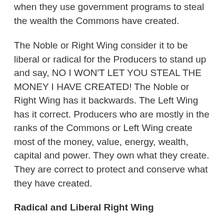when they use government programs to steal the wealth the Commons have created.
The Noble or Right Wing consider it to be liberal or radical for the Producers to stand up and say, NO I WON'T LET YOU STEAL THE MONEY I HAVE CREATED! The Noble or Right Wing has it backwards. The Left Wing has it correct. Producers who are mostly in the ranks of the Commons or Left Wing create most of the money, value, energy, wealth, capital and power. They own what they create. They are correct to protect and conserve what they have created.
Radical and Liberal Right Wing